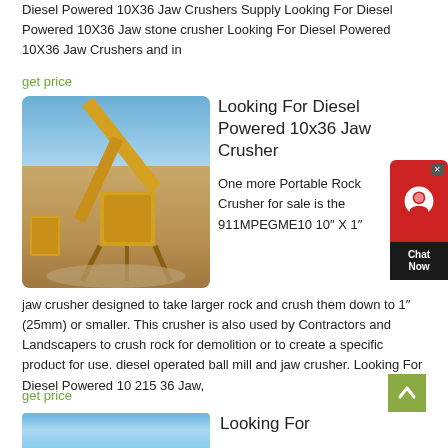Diesel Powered 10X36 Jaw Crushers Supply Looking For Diesel Powered 10X36 Jaw stone crusher Looking For Diesel Powered 10X36 Jaw Crushers and in
get price
[Figure (photo): Yellow jaw crusher and conveyor belt equipment on a mining site with blue sky background]
Looking For Diesel Powered 10x36 Jaw Crusher
One more Portable Rock Crusher for sale is the 911MPEGME10 10″ X 1″ jaw crusher designed to take larger rock and crush them down to 1″ (25mm) or smaller. This crusher is also used by Contractors and Landscapers to crush rock for demolition or to create a specific product for use. diesel operated ball mill and jaw crusher. Looking For Diesel Powered 10 215 36 Jaw,
get price
Looking For